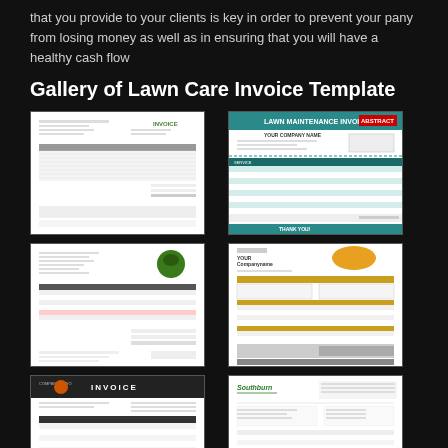that you provide to your clients is key in order to prevent your pany from losing money as well as in ensuring that you will have a healthy cash flow
Gallery of Lawn Care Invoice Template
[Figure (screenshot): Thumbnail of a lawn care invoice template - plain white with table layout and INVOICE header in green]
[Figure (screenshot): Thumbnail of a lawn care invoice template - white with green header reading LAWN MAINTENANCE INVOICE, teal table rows]
[Figure (screenshot): Thumbnail of a lawn care invoice template - white with green tree logo, pink highlighted row, multiple columns]
[Figure (screenshot): Thumbnail of a lawn care invoice template - white with orange/gold color scheme, landscaping logo, YOUR Companyname heading]
[Figure (screenshot): Thumbnail of a lawn care invoice template - black header with COMPANY LOGO and INVOICE text, dark table bands]
[Figure (screenshot): Thumbnail of a lawn care invoice template - white with Southburn logo in green, customer/invoice info section]